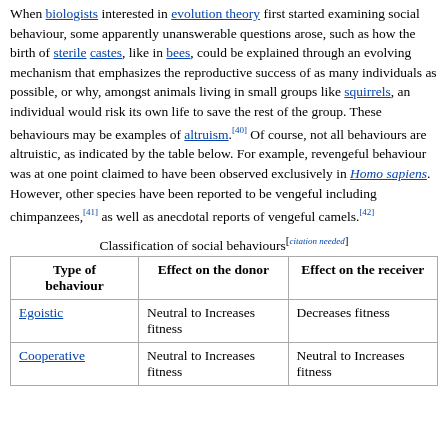When biologists interested in evolution theory first started examining social behaviour, some apparently unanswerable questions arose, such as how the birth of sterile castes, like in bees, could be explained through an evolving mechanism that emphasizes the reproductive success of as many individuals as possible, or why, amongst animals living in small groups like squirrels, an individual would risk its own life to save the rest of the group. These behaviours may be examples of altruism.[40] Of course, not all behaviours are altruistic, as indicated by the table below. For example, revengeful behaviour was at one point claimed to have been observed exclusively in Homo sapiens. However, other species have been reported to be vengeful including chimpanzees,[41] as well as anecdotal reports of vengeful camels.[42]
Classification of social behaviours[citation needed]
| Type of behaviour | Effect on the donor | Effect on the receiver |
| --- | --- | --- |
| Egoistic | Neutral to Increases fitness | Decreases fitness |
| Cooperative | Neutral to Increases fitness | Neutral to Increases fitness |